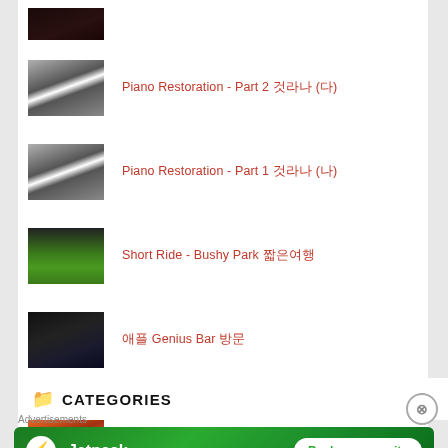Piano Restoration - Part 2 피아노 (2)
Piano Restoration - Part 1 피아노 (1)
Short Ride - Bushy Park 짧은여행
애플 Genius Bar 방문
Product Review Video 제품리뷰영상
CATEGORIES
[Figure (screenshot): Jetpack advertisement banner with lightning bolt logo and 'Back up your site' button on green background]